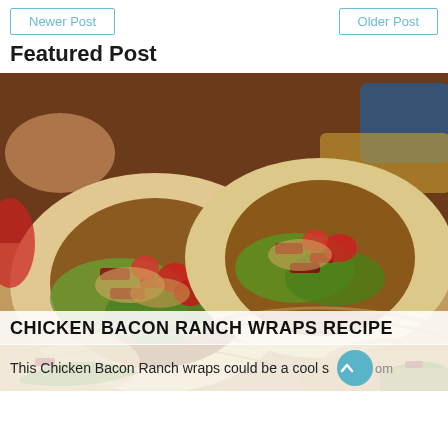Newer Post | Older Post
Featured Post
[Figure (photo): Close-up photo of a stack of chicken bacon ranch wraps cut in half, showing filling of lettuce, bacon, tomato, and chicken inside flour tortillas]
CHICKEN BACON RANCH WRAPS RECIPE
This Chicken Bacon Ranch wraps could be a cool s...